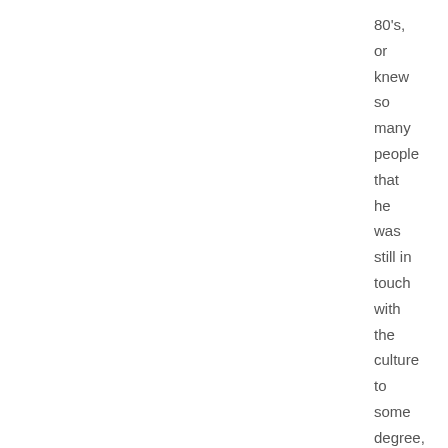80's, or knew so many people that he was still in touch with the culture to some degree, because as I remember it from talking to him